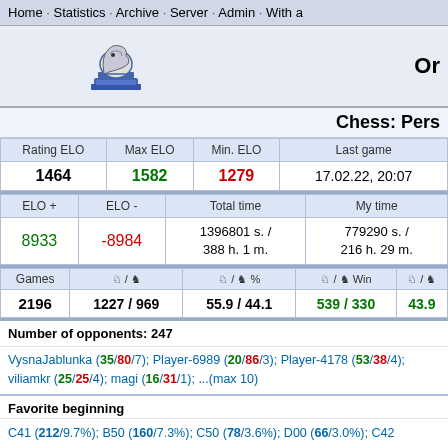Home · Statistics · Archive · Server · Admin · With a
[Figure (logo): Chess knight logo in blue and grey]
Chess: Pers
| Rating ELO | Max ELO | Min. ELO | Last game |
| --- | --- | --- | --- |
| 1464 | 1582 | 1279 | 17.02.22, 20:07 |
| ELO + | ELO - | Total time | My time |
| --- | --- | --- | --- |
| 8933 | -8984 | 1396801 s. / 388 h. 1 m. | 779290 s. / 216 h. 29 m. |
| Games | ♞/♟ | ♞/♟ % | ♞/♟ Win | ♞/♟ |
| --- | --- | --- | --- | --- |
| 2196 | 1227 / 969 | 55.9 / 44.1 | 539 / 330 | 43.9 |
Number of opponents: 247
VysnaJablunka (35/80/7); Player-6989 (20/86/3); Player-4178 (53/38/4); viliamkr (25/25/4); magi (16/31/1); ...(max 10)
Favorite beginning
C41 (212/9.7%); B50 (160/7.3%); C50 (78/3.6%); D00 (66/3.0%); C42 (65/3.0%); C (50/2.3%); B20 (49/2.2%); B01 (45/2.0%); C55 (41/1.9%); B21 (33/1.5%); A46 (33/
End of game